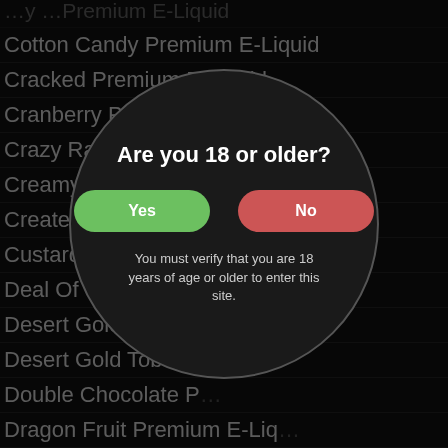Cotton Candy Premium E-Liquid
Cracked Premium E-Liquid
Cranberry Premium E-Liquid
Crazy Rabbit Cereal B…
Creamy Cannoli P…
Create Your Ow…
Custard Explo…
Deal Of The D…
Desert Gold M…
Desert Gold Tob…
Double Chocolate P…
Dragon Fruit Premium E-Liq…
Dragon's Revenge Premium E-Liquid
Dulce De Leche Premium E-Liquid
Eclipse Premium E-Liquid
[Figure (screenshot): Age verification modal dialog overlaid on a product list. The modal is circular/pill shaped on a dark background. It asks 'Are you 18 or older?' with a green 'Yes' button and red 'No' button. Below states: 'You must verify that you are 18 years of age or older to enter this site.']